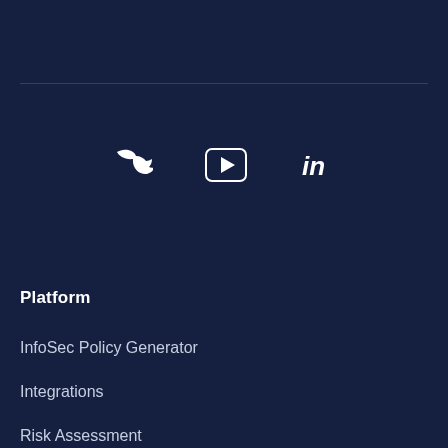[Figure (other): Social media icons: Twitter bird icon, YouTube play button icon, LinkedIn 'in' icon arranged horizontally on dark navy background]
Platform
InfoSec Policy Generator
Integrations
Risk Assessment
Audit Readiness